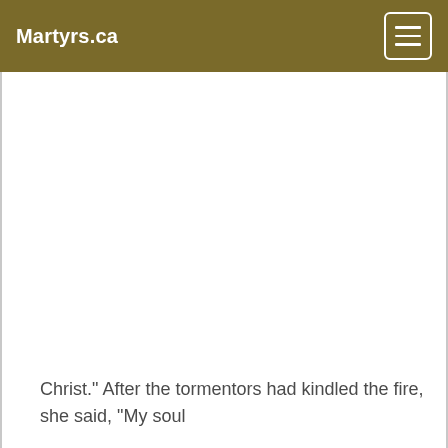Martyrs.ca
Christ." After the tormentors had kindled the fire, she said, "My soul